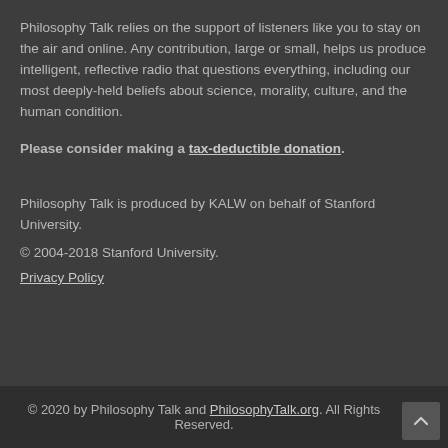Philosophy Talk relies on the support of listeners like you to stay on the air and online. Any contribution, large or small, helps us produce intelligent, reflective radio that questions everything, including our most deeply-held beliefs about science, morality, culture, and the human condition.
Please consider making a tax-deductible donation.
Philosophy Talk is produced by KALW on behalf of Stanford University.
© 2004-2018 Stanford University.
Privacy Policy
© 2020 by Philosophy Talk and PhilosophyTalk.org. All Rights Reserved.